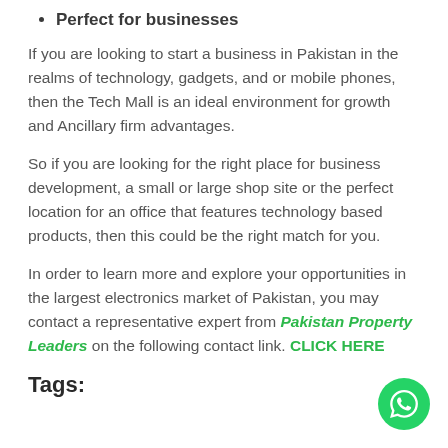Perfect for businesses
If you are looking to start a business in Pakistan in the realms of technology, gadgets, and or mobile phones, then the Tech Mall is an ideal environment for growth and Ancillary firm advantages.
So if you are looking for the right place for business development, a small or large shop site or the perfect location for an office that features technology based products, then this could be the right match for you.
In order to learn more and explore your opportunities in the largest electronics market of Pakistan, you may contact a representative expert from Pakistan Property Leaders on the following contact link. CLICK HERE
Tags: